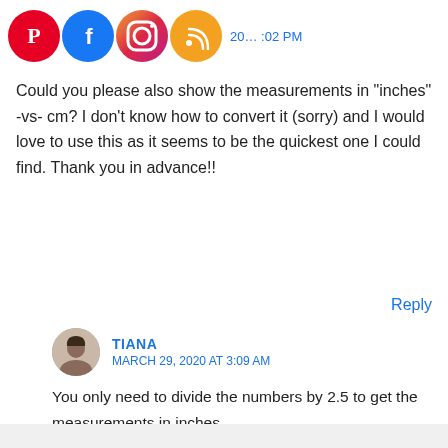[Figure (screenshot): Social media icons (Pinterest, Facebook, Instagram, RSS) with partial timestamp text '20... :02 PM' visible to the right]
Could you please also show the measurements in “inches” -vs- cm? I don’t know how to convert it (sorry) and I would love to use this as it seems to be the quickest one I could find. Thank you in advance!!
Reply
TIANA
MARCH 29, 2020 AT 3:09 AM
You only need to divide the numbers by 2.5 to get the measurements in inches
Reply